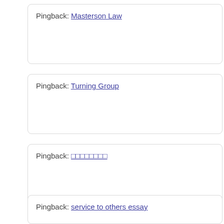Pingback: Masterson Law
Pingback: Turning Group
Pingback: (non-latin characters)
Pingback: service to others essay